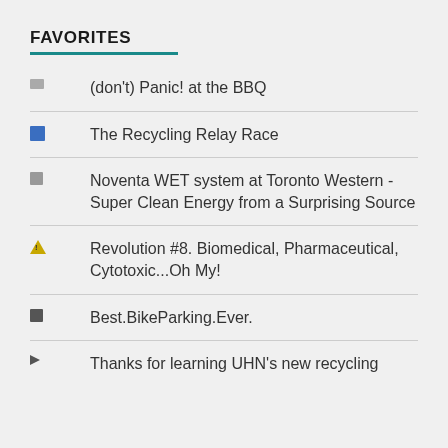FAVORITES
(don't) Panic! at the BBQ
The Recycling Relay Race
Noventa WET system at Toronto Western - Super Clean Energy from a Surprising Source
Revolution #8. Biomedical, Pharmaceutical, Cytotoxic...Oh My!
Best.BikeParking.Ever.
Thanks for learning UHN's new recycling